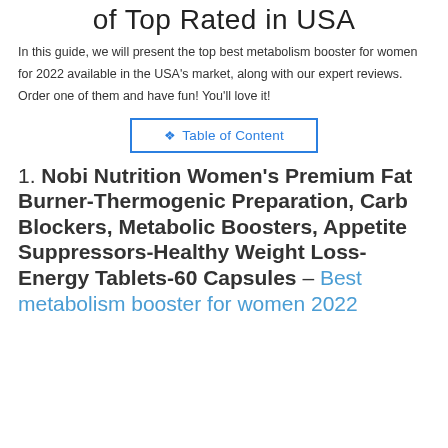of Top Rated in USA
In this guide, we will present the top best metabolism booster for women for 2022 available in the USA's market, along with our expert reviews. Order one of them and have fun! You'll love it!
▾ Table of Content
1. Nobi Nutrition Women's Premium Fat Burner-Thermogenic Preparation, Carb Blockers, Metabolic Boosters, Appetite Suppressors-Healthy Weight Loss-Energy Tablets-60 Capsules – Best metabolism booster for women 2022